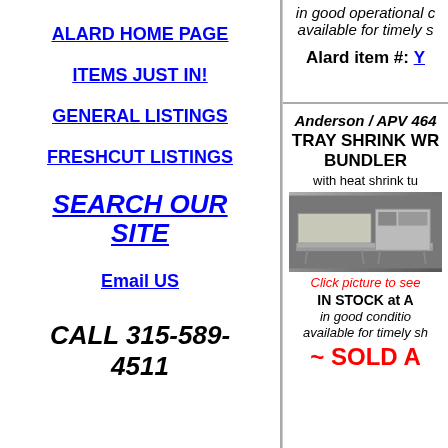ALARD HOME PAGE
ITEMS JUST IN!
GENERAL LISTINGS
FRESHCUT LISTINGS
SEARCH OUR SITE
Email US
CALL 315-589-4511
in good operational c... available for timely s...
Alard item #: Y
Anderson / APV 464 TRAY SHRINK WR... BUNDLER... with heat shrink tu...
[Figure (photo): Photo of Anderson/APV tray shrink wrap bundler machine, industrial equipment on stand]
Click picture to see... IN STOCK at A... in good conditio... available for timely sh...
~ SOLD A